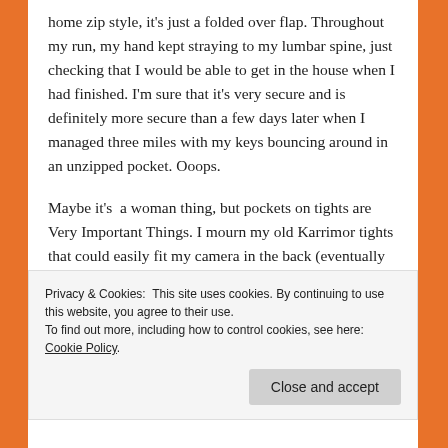home zip style, it's just a folded over flap. Throughout my run, my hand kept straying to my lumbar spine, just checking that I would be able to get in the house when I had finished. I'm sure that it's very secure and is definitely more secure than a few days later when I managed three miles with my keys bouncing around in an unzipped pocket. Ooops.
Maybe it's  a woman thing, but pockets on tights are Very Important Things. I mourn my old Karrimor tights that could easily fit my camera in the back (eventually the seams went and rubbed two holes in the side of my knee, leaving me with a scar that looks like I've been attacked by a vampire
Privacy & Cookies: This site uses cookies. By continuing to use this website, you agree to their use.
To find out more, including how to control cookies, see here: Cookie Policy
Close and accept